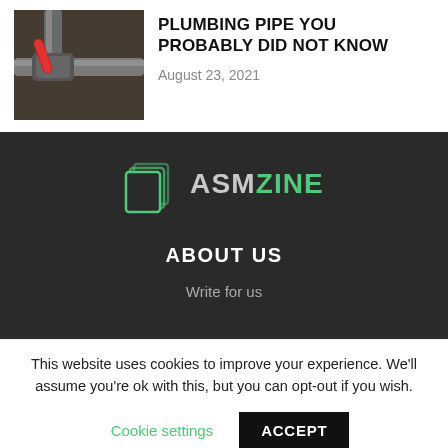[Figure (photo): Photo of metal plumbing pipes with a red valve handle]
PLUMBING PIPE YOU PROBABLY DID NOT KNOW
August 23, 2021
[Figure (logo): ASMZINE logo with stacked pages icon in teal/green outline and text ASM in gray, ZINE in green]
ABOUT US
Write for us
This website uses cookies to improve your experience. We'll assume you're ok with this, but you can opt-out if you wish.
Cookie settings
ACCEPT